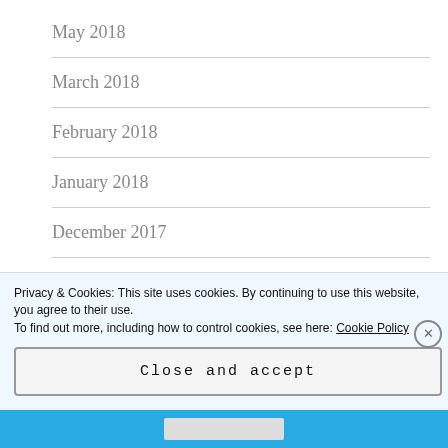May 2018
March 2018
February 2018
January 2018
December 2017
November 2017
October 2017
Privacy & Cookies: This site uses cookies. By continuing to use this website, you agree to their use.
To find out more, including how to control cookies, see here: Cookie Policy
Close and accept